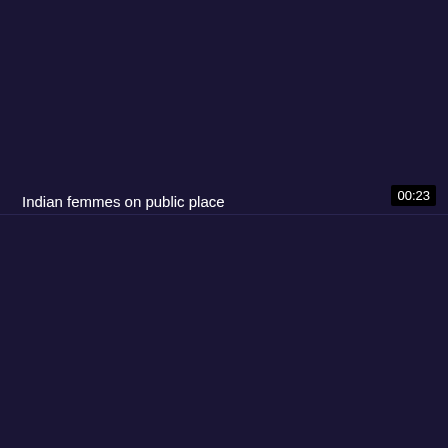[Figure (screenshot): Dark navy/purple video thumbnail with a title overlay and timestamp. The screen appears mostly dark with two panels divided by a horizontal line.]
Indian femmes on public place
00:23